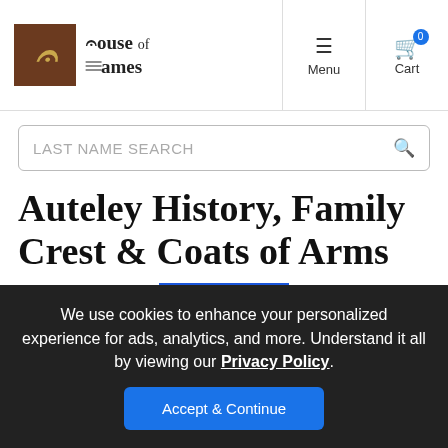House of Names — Menu | Cart
LAST NAME SEARCH
Auteley History, Family Crest & Coats of Arms
Origins Available: England  Ireland
We use cookies to enhance your personalized experience for ads, analytics, and more. Understand it all by viewing our Privacy Policy. Accept & Continue